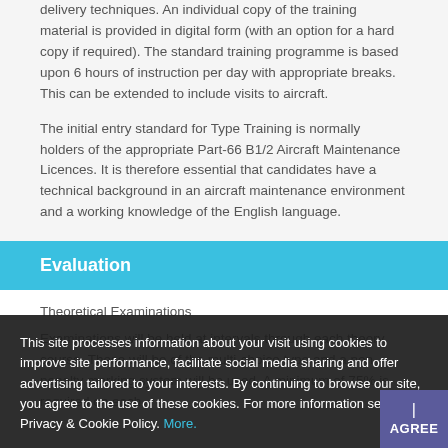delivery techniques. An individual copy of the training material is provided in digital form (with an option for a hard copy if required). The standard training programme is based upon 6 hours of instruction per day with appropriate breaks. This can be extended to include visits to aircraft.
The initial entry standard for Type Training is normally holders of the appropriate Part-66 B1/2 Aircraft Maintenance Licences. It is therefore essential that candidates have a technical background in an aircraft maintenance environment and a working knowledge of the English language.
Evaluation
Theoretical Examinations
Examinations will be held at intervals through each theory course. These will be of the multi-choice type and a non-penalty marking system will be used. A minimum of 75% is required on each
This site processes information about your visit using cookies to improve site performance, facilitate social media sharing and offer advertising tailored to your interests. By continuing to browse our site, you agree to the use of these cookies. For more information see our Privacy & Cookie Policy. More.